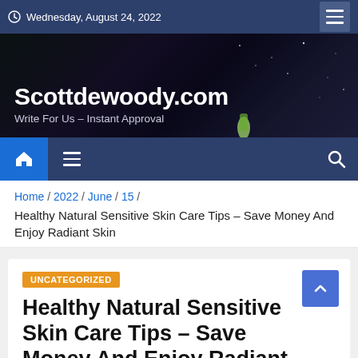Wednesday, August 24, 2022
[Figure (screenshot): Website banner/hero image for Scottdewoody.com showing a dark night scene with a tent, with site title and tagline overlaid]
Scottdewoody.com
Write For Us – Instant Approval
Home / 2022 / June / 15 /
Healthy Natural Sensitive Skin Care Tips – Save Money And Enjoy Radiant Skin
UNCATEGORIZED
Healthy Natural Sensitive Skin Care Tips – Save Money And Enjoy Radiant Skin